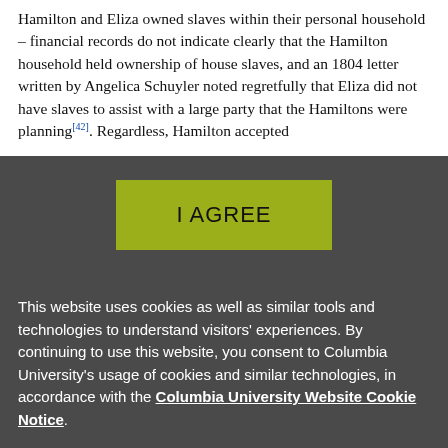Hamilton and Eliza owned slaves within their personal household – financial records do not indicate clearly that the Hamilton household held ownership of house slaves, and an 1804 letter written by Angelica Schuyler noted regretfully that Eliza did not have slaves to assist with a large party that the Hamiltons were planning[42]. Regardless, Hamilton accepted
I AGREE
This website uses cookies as well as similar tools and technologies to understand visitors' experiences. By continuing to use this website, you consent to Columbia University's usage of cookies and similar technologies, in accordance with the Columbia University Website Cookie Notice.